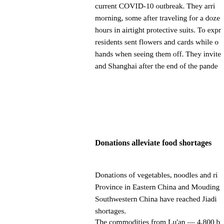current COVID-10 outbreak. They arrived morning, some after traveling for a dozen hours in airtight protective suits. To express residents sent flowers and cards while others hands when seeing them off. They invited and Shanghai after the end of the pandemic.
Donations alleviate food shortages
Donations of vegetables, noodles and rice from Province in Eastern China and Mouding County in Southwestern China have reached Jiading to ease shortages.
The commodities from Lu'an — 4,800 boxes of self-heating rice packs and 1.5 tons of vegetables — refrigerated truck in Jiading on April 8.
“When we got to know about the difficulties in Town, we decided to provide vegetables…” said vice chairman of PFI Foods in Anhui Province.
“We volunteered to shoulder the distribution of goods,” said Bi Jianwei, vice chairman of